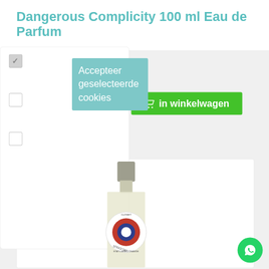Dangerous Complicity 100 ml Eau de Parfum
[Figure (screenshot): Cookie consent overlay with teal popup saying 'Accepteer geselecteerde cookies', checkboxes, and a green 'in winkelwagen' (add to cart) button. A perfume bottle (Etat Libre d'Orange) is partially visible in the lower portion of the screen.]
Accepteer geselecteerde cookies
in winkelwagen